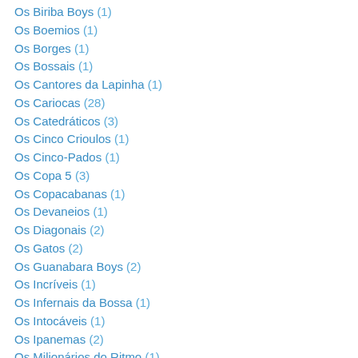Os Biriba Boys (1)
Os Boemios (1)
Os Borges (1)
Os Bossais (1)
Os Cantores da Lapinha (1)
Os Cariocas (28)
Os Catedráticos (3)
Os Cinco Crioulos (1)
Os Cinco-Pados (1)
Os Copa 5 (3)
Os Copacabanas (1)
Os Devaneios (1)
Os Diagonais (2)
Os Gatos (2)
Os Guanabara Boys (2)
Os Incríveis (1)
Os Infernais da Bossa (1)
Os Intocáveis (1)
Os Ipanemas (2)
Os Milionários do Ritmo (1)